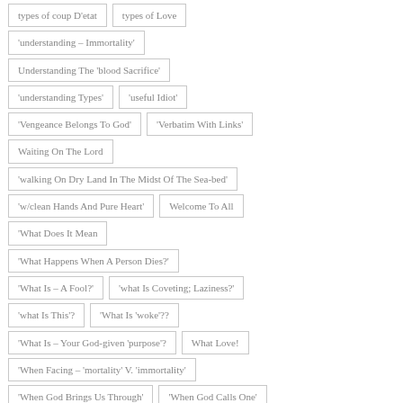types of coup D'etat
types of Love
'understanding – Immortality'
Understanding The 'blood Sacrifice'
'understanding Types'
'useful Idiot'
'Vengeance Belongs To God'
'Verbatim With Links'
Waiting On The Lord
'walking On Dry Land In The Midst Of The Sea-bed'
'w/clean Hands And Pure Heart'
Welcome To All
'What Does It Mean
'What Happens When A Person Dies?'
'What Is – A Fool?'
'what Is Coveting; Laziness?'
'what Is This'?
'What Is 'woke'??
'What Is – Your God-given 'purpose'?
What Love!
'When Facing – 'mortality' V. 'immortality'
'When God Brings Us Through'
'When God Calls One'